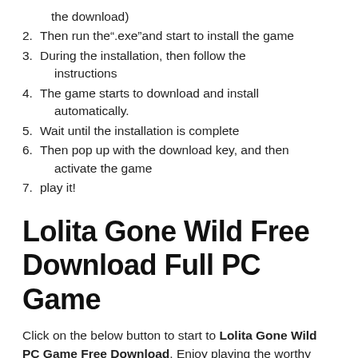the download)
2. Then run the”.exe”and start to install the game
3. During the installation, then follow the instructions
4. The game starts to download and install automatically.
5. Wait until the installation is complete
6. Then pop up with the download key, and then activate the game
7. play it!
Lolita Gone Wild Free Download Full PC Game
Click on the below button to start to Lolita Gone Wild PC Game Free Download. Enjoy playing the worthy game for